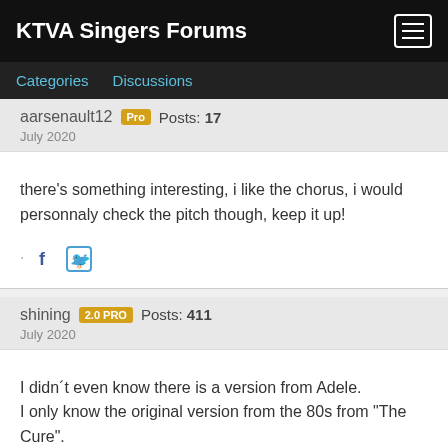KTVA Singers Forums
Categories  Discussions
aarsenault12  Pro  Posts: 17
July 2020
there's something interesting, i like the chorus, i would personnaly check the pitch though, keep it up!
shining  2.0 PRO  Posts: 411
July 2020
I didn´t even know there is a version from Adele.
I only know the original version from the 80s from "The Cure".

Just listened to Adele - the melody she sings is very close to